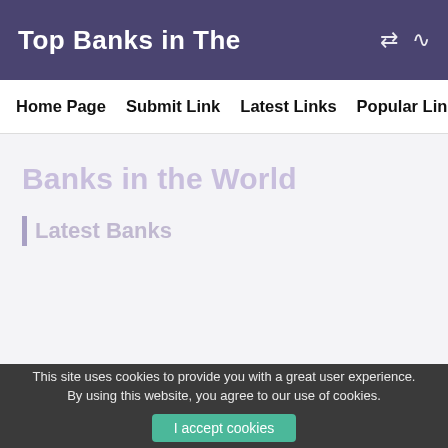Top Banks in The
Home Page   Submit Link   Latest Links   Popular Link
Banks in the World
| Latest Banks
This site uses cookies to provide you with a great user experience. By using this website, you agree to our use of cookies.
I accept cookies